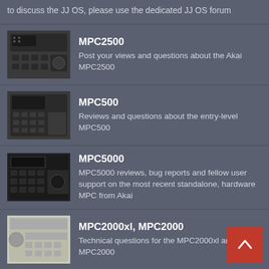to discuss the JJ OS, please use the dedicated JJ OS forum
MPC2500
Post your views and questions about the Akai MPC2500
MPC500
Reviews and questions about the entry-level MPC500
MPC5000
MPC5000 reviews, bug reports and fellow user support on the most recent standalone, hardware MPC from Akai
MPC2000xl, MPC2000
Technical questions for the MPC2000xl and the MPC2000
MPC4000
Exchange tips and tricks for the Akai MPC4000
MPC3000, MPC60
Share your knowledge on these two classic MPCs